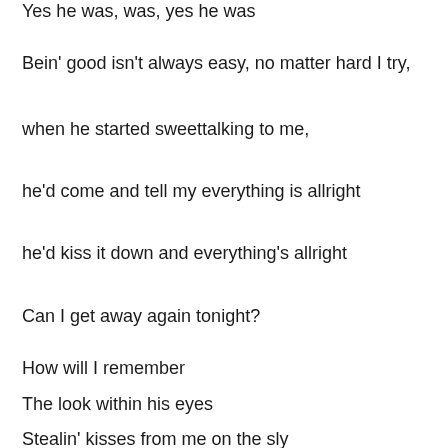Yes he was, was, yes he was
Bein' good isn't always easy, no matter hard I try,
when he started sweettalking to me,
he'd come and tell my everything is allright
he'd kiss it down and everything's allright
Can I get away again tonight?
How will I remember
The look within his eyes
Stealin' kisses from me on the sly